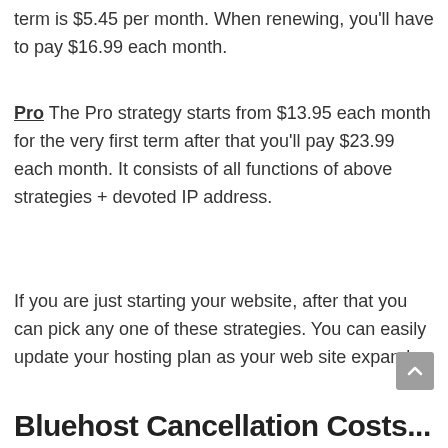term is $5.45 per month. When renewing, you'll have to pay $16.99 each month.
Pro The Pro strategy starts from $13.95 each month for the very first term after that you'll pay $23.99 each month. It consists of all functions of above strategies + devoted IP address.
If you are just starting your website, after that you can pick any one of these strategies. You can easily update your hosting plan as your web site expands.
Bluehost Cancellation Costs...